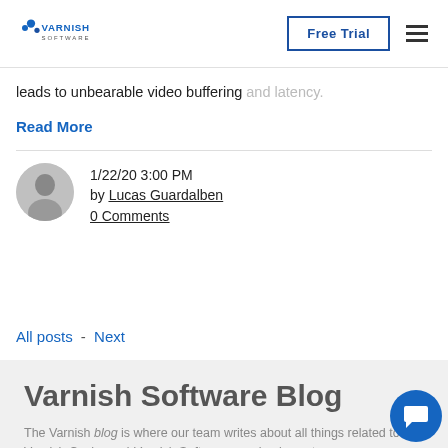Varnish Software | Free Trial
leads to unbearable video buffering and latency.
Read More
1/22/20 3:00 PM
by Lucas Guardalben
0 Comments
All posts - Next
Varnish Software Blog
The Varnish blog is where our team writes about all things related to Varnish Cache and Varnish Software...or simply vents.